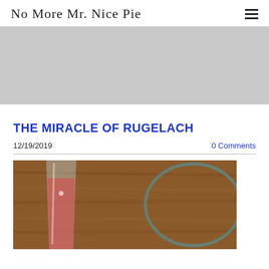No More Mr. Nice Pie
[Figure (other): Gray advertisement banner placeholder]
THE MIRACLE OF RUGELACH
12/19/2019
0 Comments
[Figure (photo): Photo of a glass with pink/red drink on a wooden cutting board, partially cropped at bottom of page]